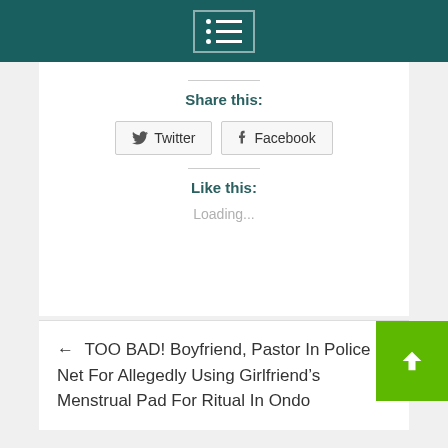Menu icon / navigation header
Share this:
Twitter  Facebook
Like this:
Loading...
← TOO BAD! Boyfriend, Pastor In Police Net For Allegedly Using Girlfriend's Menstrual Pad For Ritual In Ondo